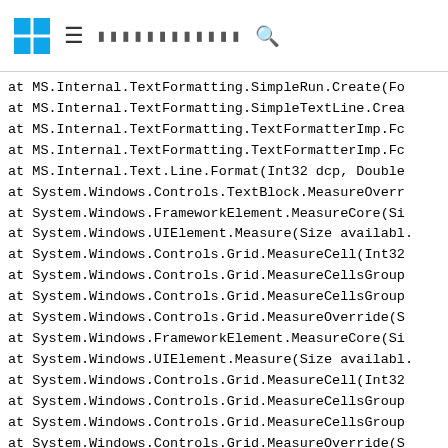Windows logo | hamburger menu | search bar
at MS.Internal.TextFormatting.SimpleRun.Create(Fo
at MS.Internal.TextFormatting.SimpleTextLine.Crea
at MS.Internal.TextFormatting.TextFormatterImp.Fc
at MS.Internal.TextFormatting.TextFormatterImp.Fc
at MS.Internal.Text.Line.Format(Int32 dcp, Double
at System.Windows.Controls.TextBlock.MeasureOver
at System.Windows.FrameworkElement.MeasureCore(Si
at System.Windows.UIElement.Measure(Size availabl
at System.Windows.Controls.Grid.MeasureCell(Int32
at System.Windows.Controls.Grid.MeasureCellsGroup
at System.Windows.Controls.Grid.MeasureCellsGroup
at System.Windows.Controls.Grid.MeasureOverride(S
at System.Windows.FrameworkElement.MeasureCore(Si
at System.Windows.UIElement.Measure(Size availabl
at System.Windows.Controls.Grid.MeasureCell(Int32
at System.Windows.Controls.Grid.MeasureCellsGroup
at System.Windows.Controls.Grid.MeasureCellsGroup
at System.Windows.Controls.Grid.MeasureOverride(S